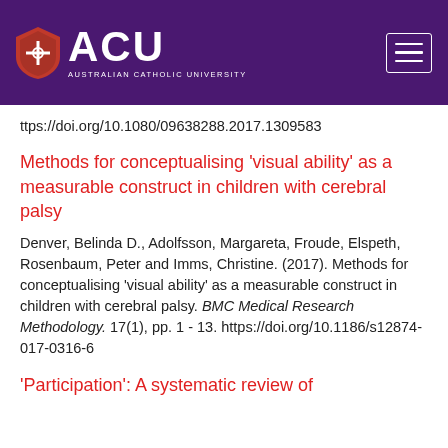[Figure (logo): ACU (Australian Catholic University) logo with shield icon on purple header background, with hamburger menu icon on right]
ttps://doi.org/10.1080/09638288.2017.1309583
Methods for conceptualising 'visual ability' as a measurable construct in children with cerebral palsy
Denver, Belinda D., Adolfsson, Margareta, Froude, Elspeth, Rosenbaum, Peter and Imms, Christine. (2017). Methods for conceptualising 'visual ability' as a measurable construct in children with cerebral palsy. BMC Medical Research Methodology. 17(1), pp. 1 - 13. https://doi.org/10.1186/s12874-017-0316-6
'Participation': A systematic review of how consent definitions and content are used